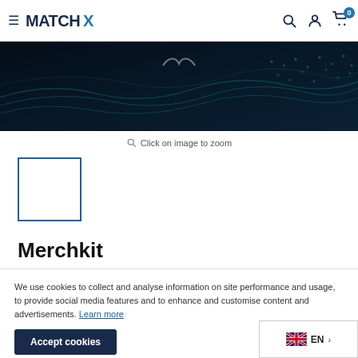MatchX — navigation header with hamburger menu, logo, search, account, and cart icons
[Figure (photo): Dark hero banner image with teal wave/dot pattern on near-black background]
Click on image to zoom
[Figure (photo): Small product thumbnail with blue border outline, white interior]
Merchkit
We use cookies to collect and analyse information on site performance and usage, to provide social media features and to enhance and customise content and advertisements. Learn more
Accept cookies
€20,00 / cm
EN